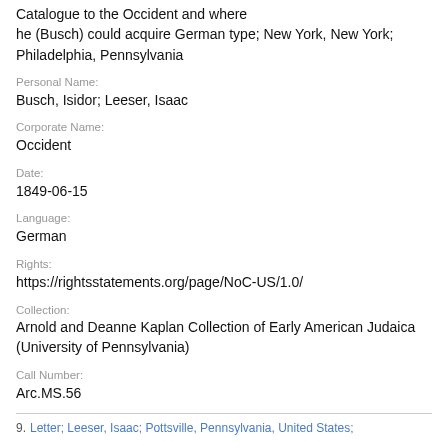Catalogue to the Occident and where he (Busch) could acquire German type; New York, New York; Philadelphia, Pennsylvania
Personal Name: Busch, Isidor; Leeser, Isaac
Corporate Name: Occident
Date: 1849-06-15
Language: German
Rights: https://rightsstatements.org/page/NoC-US/1.0/
Collection: Arnold and Deanne Kaplan Collection of Early American Judaica (University of Pennsylvania)
Call Number: Arc.MS.56
9. Letter; Leeser, Isaac; Pottsville, Pennsylvania, United States;